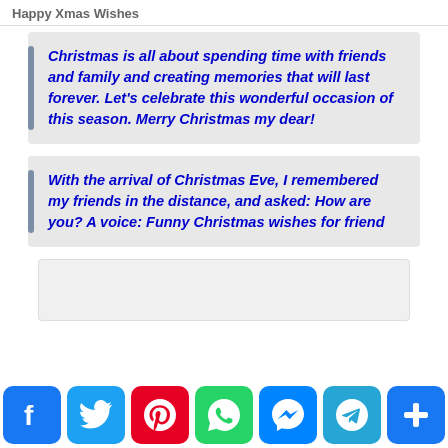Happy Xmas Wishes
Christmas is all about spending time with friends and family and creating memories that will last forever. Let's celebrate this wonderful occasion of this season. Merry Christmas my dear!
With the arrival of Christmas Eve, I remembered my friends in the distance, and asked: How are you? A voice: Funny Christmas wishes for friend
[Figure (other): Social sharing buttons: Facebook, Twitter, Pinterest, WhatsApp, Messenger, Telegram, Share]